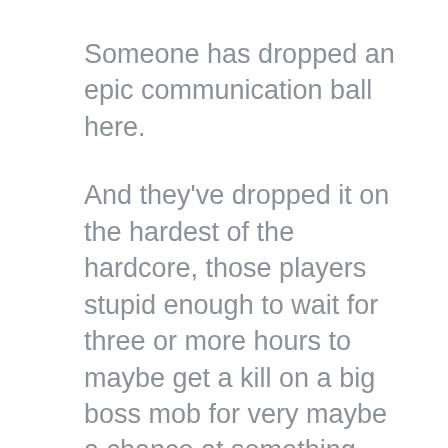Someone has dropped an epic communication ball here.
And they've dropped it on the hardest of the hardcore, those players stupid enough to wait for three or more hours to maybe get a kill on a big boss mob for very maybe a chance at something nifty.
Maybe they think these hardcore folks will suck it up and keep playing the game anyway.
We probably will. We're goddamn stupid